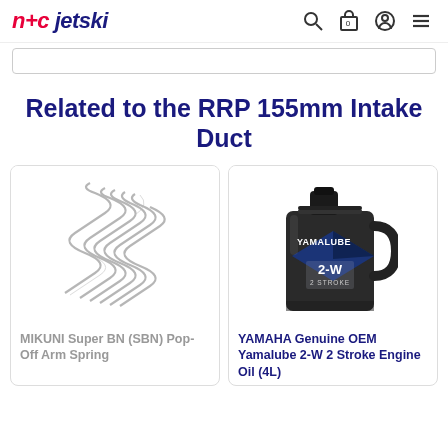n+c jetski
Related to the RRP 155mm Intake Duct
[Figure (photo): MIKUNI Super BN (SBN) Pop-Off Arm Spring — a coiled metal spring on white background]
MIKUNI Super BN (SBN) Pop-Off Arm Spring
[Figure (photo): YAMAHA Genuine OEM Yamalube 2-W 2 Stroke Engine Oil (4L) — black jug with blue Yamalube branding]
YAMAHA Genuine OEM Yamalube 2-W 2 Stroke Engine Oil (4L)